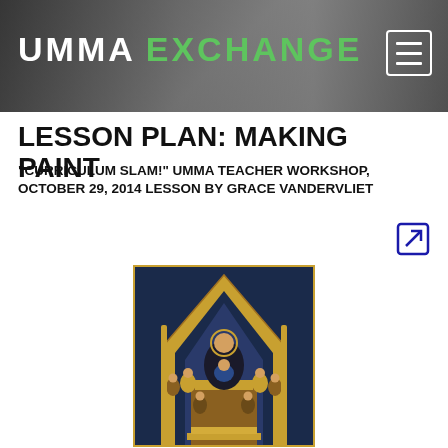umma EXCHANGE
LESSON PLAN: MAKING PAINT
“CURRICULUM SLAM!” UMMA TEACHER WORKSHOP, OCTOBER 29, 2014 LESSON BY GRACE VANDERVLIET
[Figure (illustration): Medieval altarpiece painting of Madonna and Child enthroned, surrounded by angels and saints, with gold Gothic architectural frame]